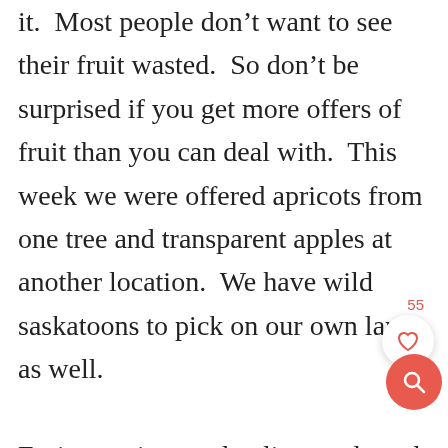it.  Most people don't want to see their fruit wasted.  So don't be surprised if you get more offers of fruit than you can deal with.  This week we were offered apricots from one tree and transparent apples at another location.  We have wild saskatoons to pick on our own land as well.  Fruit growing on derelict, neglected trees are usually smaller than store-bought, and often blemished.  The trees haven't been